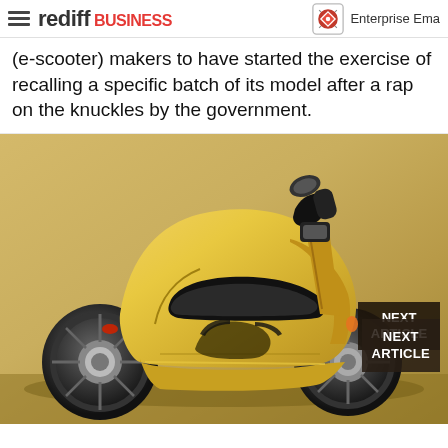rediff BUSINESS | Enterprise Ema
(e-scooter) makers to have started the exercise of recalling a specific batch of its model after a rap on the knuckles by the government.
[Figure (photo): Yellow electric scooter (e-scooter) shown in profile view against a golden/beige background. A 'NEXT ARTICLE' badge appears in the lower right corner of the image.]